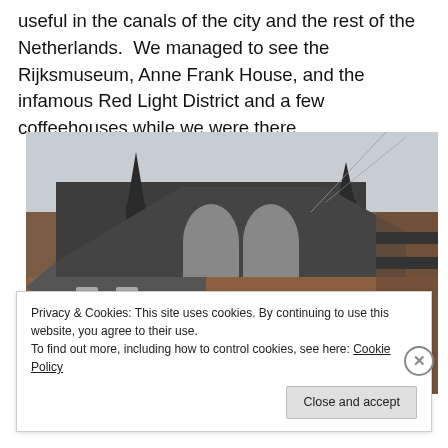useful in the canals of the city and the rest of the Netherlands.  We managed to see the Rijksmuseum, Anne Frank House, and the infamous Red Light District and a few coffeehouses while we were there.
[Figure (photo): Photograph of a large Gothic brick church or cathedral building taken from a low angle. The building features arched windows, dark slate roof, decorative stonework with alternating brick patterns, and a tall spire visible to the left. The sky is overcast and grey.]
Privacy & Cookies: This site uses cookies. By continuing to use this website, you agree to their use.
To find out more, including how to control cookies, see here: Cookie Policy